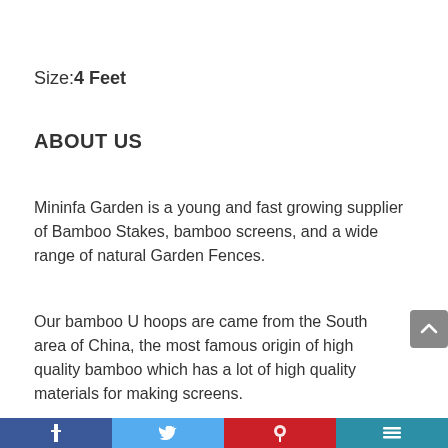Size: 4 Feet
ABOUT US
Mininfa Garden is a young and fast growing supplier of Bamboo Stakes, bamboo screens, and a wide range of natural Garden Fences.
Our bamboo U hoops are came from the South area of China, the most famous origin of high quality bamboo which has a lot of high quality materials for making screens.
Social media share bar